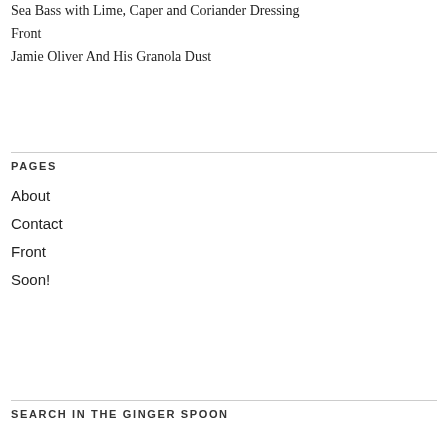Sea Bass with Lime, Caper and Coriander Dressing
Front
Jamie Oliver And His Granola Dust
PAGES
About
Contact
Front
Soon!
SEARCH IN THE GINGER SPOON